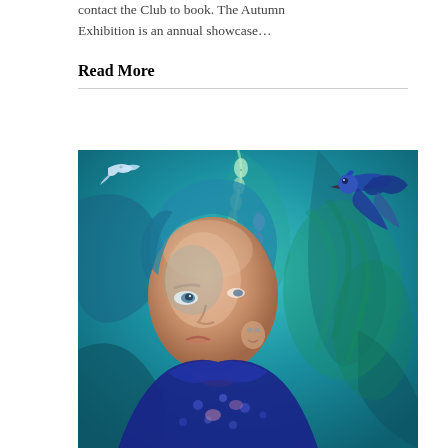contact the Club to book. The Autumn Exhibition is an annual showcase…
Read More
[Figure (illustration): A painting in predominantly blue-teal tones depicting a woman's portrait with floral elements (foxgloves) adorning her head. A blue jay or similar bird appears in the upper right. The background has swirling blue-green brushwork suggesting a forest. The woman wears a blue garment with decorative patterns.]